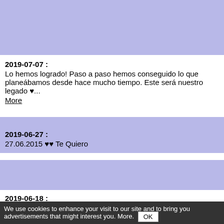2019-07-07 : Lo hemos logrado! Paso a paso hemos conseguido lo que planeábamos desde hace mucho tiempo. Este será nuestro legado ♥... More
2019-06-27 : 27.06.2015 ♥♥ Te Quiero
2019-06-18 : P E A C E
We use cookies to enhance your visit to our site and to bring you advertisements that might interest you. More. OK